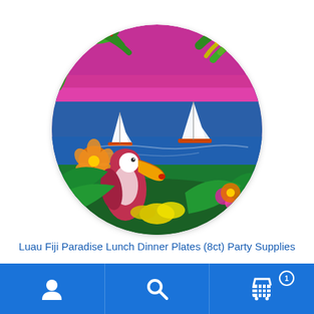[Figure (photo): A round decorative paper plate with a tropical Luau/Fiji Paradise design featuring palm trees, sailboats on blue ocean water with pink/magenta sky, colorful tropical flowers, green foliage, and a toucan/parrot bird in vibrant colors.]
Luau Fiji Paradise Lunch Dinner Plates (8ct) Party Supplies
$7.99
Navigation bar with account icon, search icon, and cart icon with badge showing 1 item